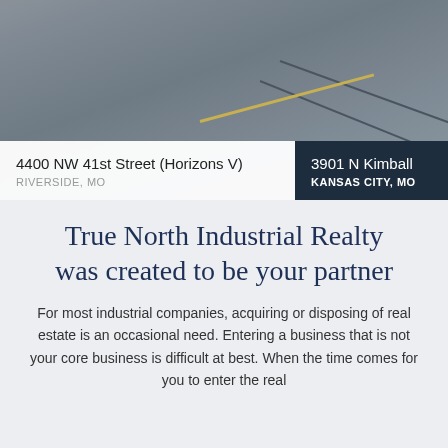[Figure (photo): Aerial or ground-level view of an asphalt road surface with yellow road markings and dark tire marks or lane lines.]
4400 NW 41st Street (Horizons V)
RIVERSIDE, MO
3901 N Kimball
KANSAS CITY, MO
True North Industrial Realty was created to be your partner
For most industrial companies, acquiring or disposing of real estate is an occasional need. Entering a business that is not your core business is difficult at best. When the time comes for you to enter the real